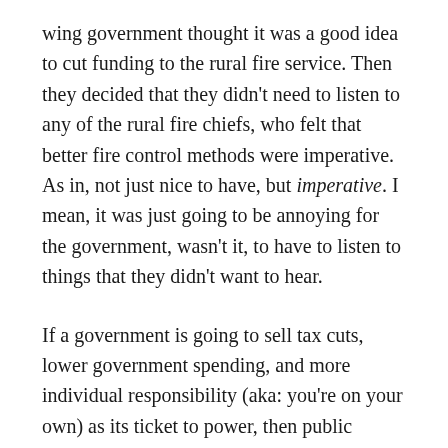wing government thought it was a good idea to cut funding to the rural fire service. Then they decided that they didn't need to listen to any of the rural fire chiefs, who felt that better fire control methods were imperative. As in, not just nice to have, but imperative. I mean, it was just going to be annoying for the government, wasn't it, to have to listen to things that they didn't want to hear.
If a government is going to sell tax cuts, lower government spending, and more individual responsibility (aka: you're on your own) as its ticket to power, then public services are first in the cutting line to achieve this. It's a no-brainer. Except that the spin that right-wing governments put on it doesn't include